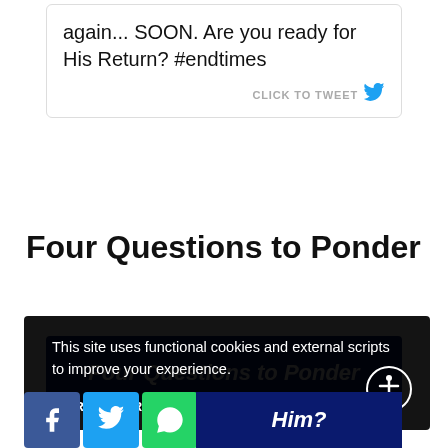again... SOON. Are you ready for His Return? #endtimes
[Figure (screenshot): CLICK TO TWEET button with Twitter bird icon]
Four Questions to Ponder
[Figure (screenshot): Blue banner with italic white text reading 'Four Questions to Ponder']
This site uses functional cookies and external scripts to improve your experience.
MORE INFORMATION   ACCEPT
[Figure (screenshot): Social share bar with Facebook, Twitter, WhatsApp, and share buttons]